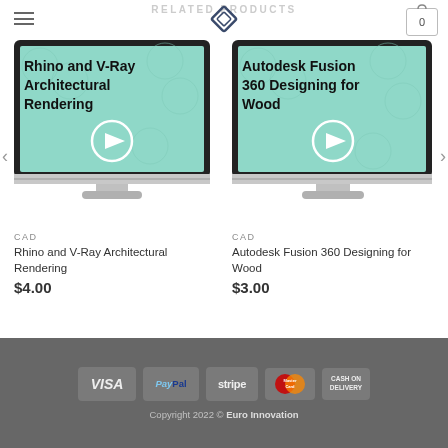RELATED PRODUCTS
[Figure (screenshot): Website navigation bar with hamburger menu, diamond logo, and cart icon showing 0]
[Figure (screenshot): Product thumbnail: monitor displaying 'Rhino and V-Ray Architectural Rendering' on teal background with hexagon pattern and play button]
[Figure (screenshot): Product thumbnail: monitor displaying 'Autodesk Fusion 360 Designing for Wood' on teal background with hexagon pattern and play button]
CAD
Rhino and V-Ray Architectural Rendering
$4.00
CAD
Autodesk Fusion 360 Designing for Wood
$3.00
VISA PayPal stripe MasterCard CASH ON DELIVERY
Copyright 2022 © Euro Innovation